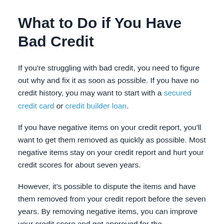What to Do if You Have Bad Credit
If you're struggling with bad credit, you need to figure out why and fix it as soon as possible. If you have no credit history, you may want to start with a secured credit card or credit builder loan.
If you have negative items on your credit report, you'll want to get them removed as quickly as possible. Most negative items stay on your credit report and hurt your credit scores for about seven years.
However, it's possible to dispute the items and have them removed from your credit report before the seven years. By removing negative items, you can improve your credit score and get approved for the